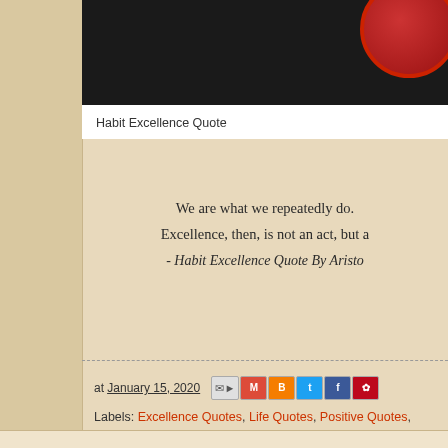[Figure (photo): Dark/black image header with partial red circular logo/emblem visible at top right]
Habit Excellence Quote
We are what we repeatedly do. Excellence, then, is not an act, but a - Habit Excellence Quote By Aristo
at January 15, 2020
Labels: Excellence Quotes, Life Quotes, Positive Quotes, Quality Quote... Day, Sayings About Life, Short Quotes